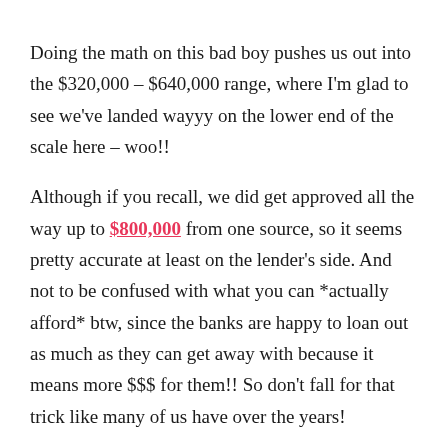Doing the math on this bad boy pushes us out into the $320,000 – $640,000 range, where I'm glad to see we've landed wayyy on the lower end of the scale here – woo!!
Although if you recall, we did get approved all the way up to $800,000 from one source, so it seems pretty accurate at least on the lender's side. And not to be confused with what you can *actually afford* btw, since the banks are happy to loan out as much as they can get away with because it means more $$$ for them!! So don't fall for that trick like many of us have over the years!